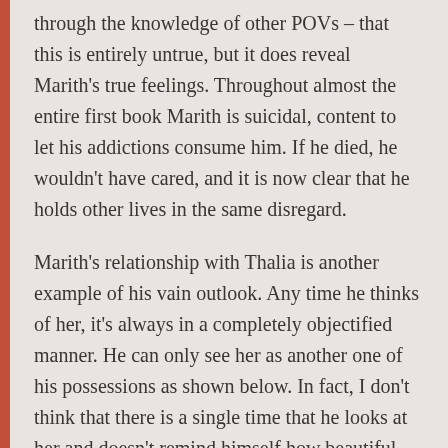through the knowledge of other POVs – that this is entirely untrue, but it does reveal Marith's true feelings. Throughout almost the entire first book Marith is suicidal, content to let his addictions consume him. If he died, he wouldn't have cared, and it is now clear that he holds other lives in the same disregard.
Marith's relationship with Thalia is another example of his vain outlook. Any time he thinks of her, it's always in a completely objectified manner. He can only see her as another one of his possessions as shown below. In fact, I don't think that there is a single time that he looks at her and doesn't remind himself how beautiful and fragile she is. Fortunately, throughout the book, Thalia